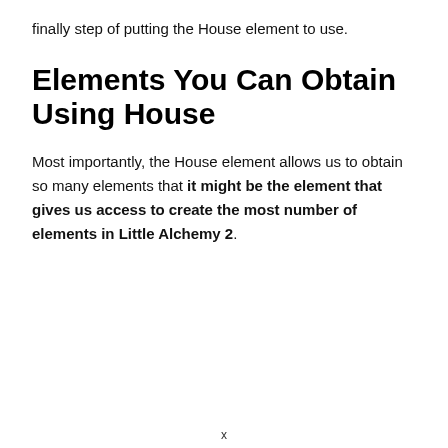finally step of putting the House element to use.
Elements You Can Obtain Using House
Most importantly, the House element allows us to obtain so many elements that it might be the element that gives us access to create the most number of elements in Little Alchemy 2.